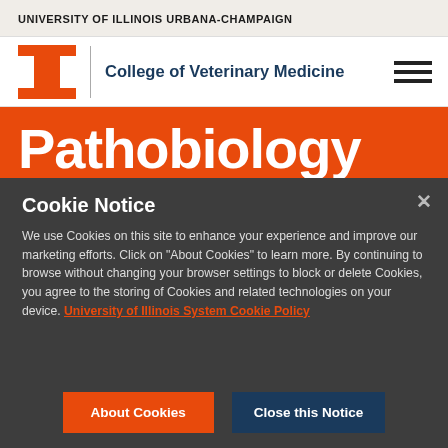UNIVERSITY OF ILLINOIS URBANA-CHAMPAIGN
[Figure (logo): University of Illinois block I logo in orange with vertical divider and College of Veterinary Medicine text and hamburger menu icon]
Pathobiology
Cookie Notice
We use Cookies on this site to enhance your experience and improve our marketing efforts. Click on "About Cookies" to learn more. By continuing to browse without changing your browser settings to block or delete Cookies, you agree to the storing of Cookies and related technologies on your device. University of Illinois System Cookie Policy
About Cookies
Close this Notice